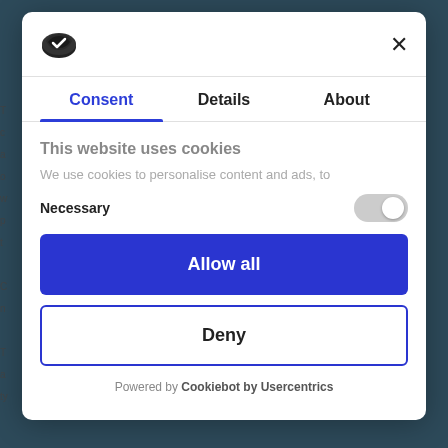[Figure (screenshot): Cookie consent modal dialog with Cookiebot logo, tabs for Consent, Details, About, title 'This website uses cookies', description text, Necessary toggle, Allow all button, Deny button, and Cookiebot by Usercentrics footer.]
This website uses cookies
We use cookies to personalise content and ads, to
Necessary
Allow all
Deny
Powered by Cookiebot by Usercentrics